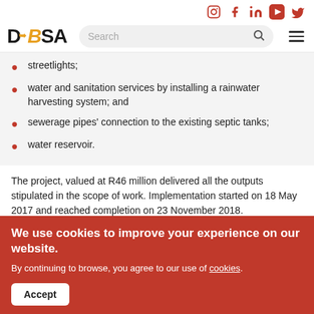DBSA website header with social media icons (Instagram, Facebook, LinkedIn, YouTube, Twitter), DBSA logo, search bar, and hamburger menu
streetlights;
water and sanitation services by installing a rainwater harvesting system; and
sewerage pipes' connection to the existing septic tanks;
water reservoir.
The project, valued at R46 million delivered all the outputs stipulated in the scope of work. Implementation started on 18 May 2017 and reached completion on 23 November 2018.
We use cookies to improve your experience on our website.
By continuing to browse, you agree to our use of cookies.
[Accept button]